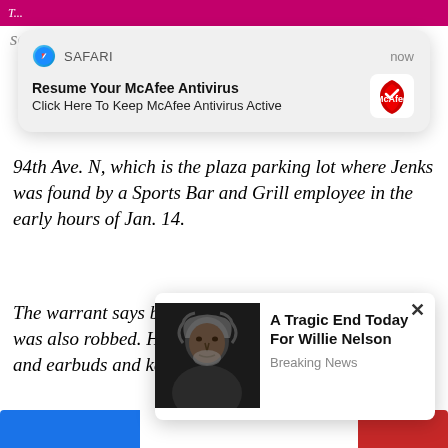[Figure (screenshot): Safari browser notification popup saying 'Resume Your McAfee Antivirus - Click Here To Keep McAfee Antivirus Active' with McAfee logo, overlaid on a news article page]
94th Ave. N, which is the plaza parking lot where Jenks was found by a Sports Bar and Grill employee in the early hours of Jan. 14.
The warrant says besides being beaten to death, Jenks was also robbed. His pockets were turned inside out, and earbuds and keys were near his body.
Court records say that there is also surveillance at King's apartm... :36 a.m o... ...tside his fro... ...n the
[Figure (screenshot): Popup ad showing a photo of Willie Nelson with headline 'A Tragic End Today For Willie Nelson' and subtext 'Breaking News']